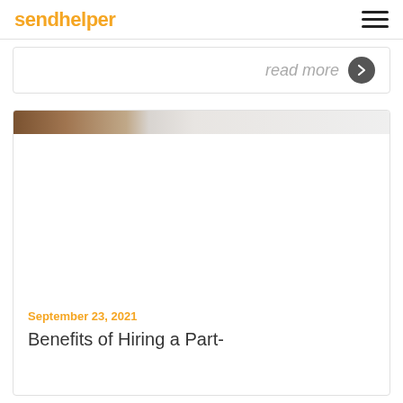sendhelper
read more
[Figure (photo): Partial image strip showing a photograph – left portion appears to show a brown/warm-toned subject, right portion is light/white background]
September 23, 2021
Benefits of Hiring a Part-